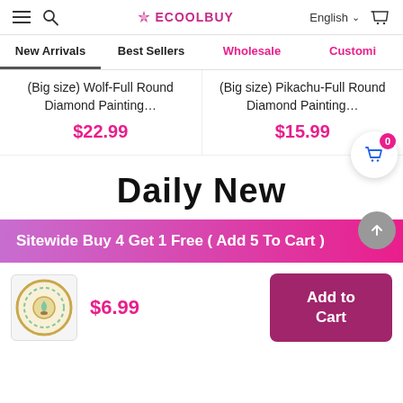ECOOLBUY — English — Navigation bar with hamburger, search, logo, language, cart
New Arrivals
Best Sellers
Wholesale
Customi...
(Big size) Wolf-Full Round Diamond Painting…
$22.99
(Big size) Pikachu-Full Round Diamond Painting…
$15.99
Daily New
Sitewide Buy 4 Get 1 Free ( Add 5 To Cart )
$6.99
Add to Cart